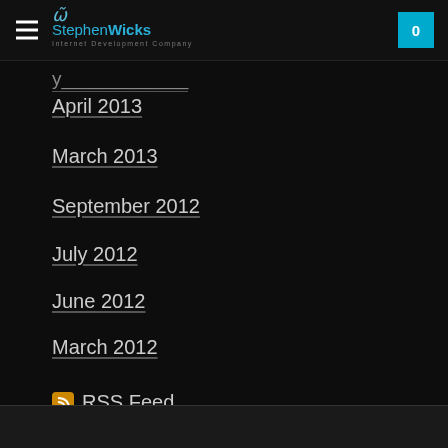StephenWicks Internet Development Company
April 2013
March 2013
September 2012
July 2012
June 2012
March 2012
February 2012
January 2012
December 2011
November 2011
October 2011
RSS Feed